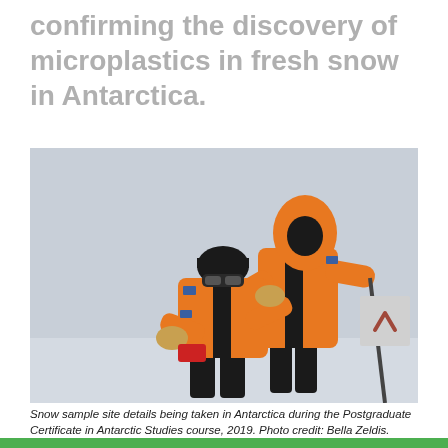confirming the discovery of microplastics in fresh snow in Antarctica.
[Figure (photo): Two researchers in orange and black cold-weather gear in an Antarctic snow field. One is crouching and looking at a red device, the other is standing and pointing. Both wear heavy gloves and face coverings. A grey scroll-up button with a chevron is overlaid in the bottom-right corner of the image.]
Snow sample site details being taken in Antarctica during the Postgraduate Certificate in Antarctic Studies course, 2019. Photo credit: Bella Zeldis.